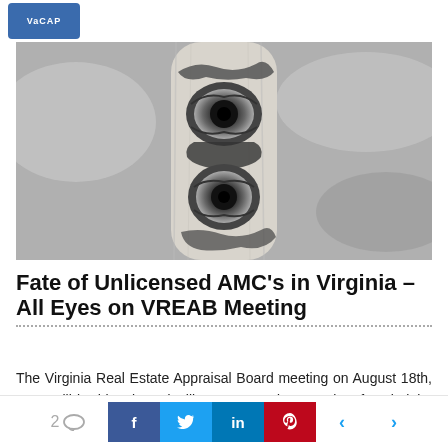VaCAP
[Figure (photo): Black and white close-up photo of a carved wooden object with two eye-like holes, resembling an owl or face with two circular carved eyes stacked vertically on a branch/log.]
Fate of Unlicensed AMC's in Virginia – All Eyes on VREAB Meeting
The Virginia Real Estate Appraisal Board meeting on August 18th, 2015 will be historic and will set a precedent, not just for Virginia, but for the
2 comments  f  t  in  p  < >